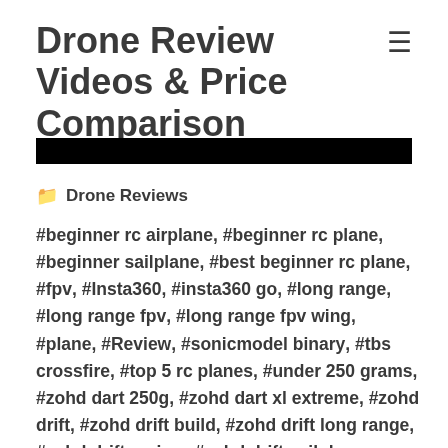Drone Review Videos & Price Comparison
[Figure (other): Black redacted/banner bar]
📁 Drone Reviews
#beginner rc airplane, #beginner rc plane, #beginner sailplane, #best beginner rc plane, #fpv, #Insta360, #insta360 go, #long range, #long range fpv, #long range fpv wing, #plane, #Review, #sonicmodel binary, #tbs crossfire, #top 5 rc planes, #under 250 grams, #zohd dart 250g, #zohd dart xl extreme, #zohd drift, #zohd drift build, #zohd drift long range, #zohd drift review, #zohd drift sailplane, #zohd drift setup, #zohd kopilot